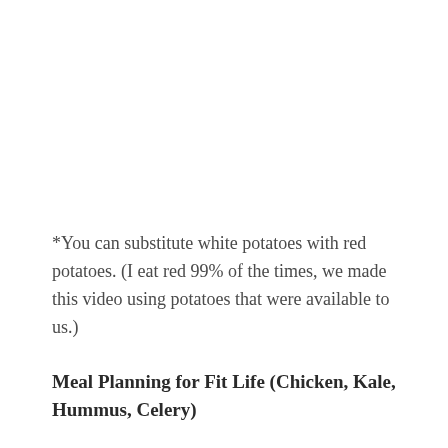*You can substitute white potatoes with red potatoes. (I eat red 99% of the times, we made this video using potatoes that were available to us.)
Meal Planning for Fit Life (Chicken, Kale, Hummus, Celery)